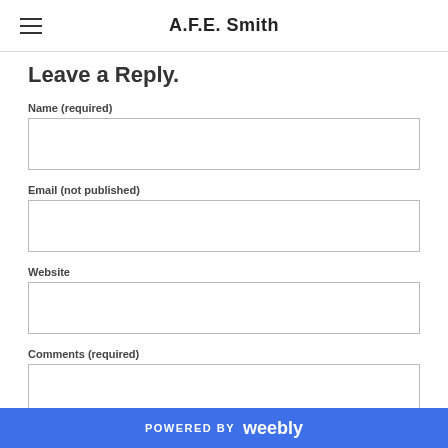A.F.E. Smith
Leave a Reply.
Name (required)
Email (not published)
Website
Comments (required)
POWERED BY weebly